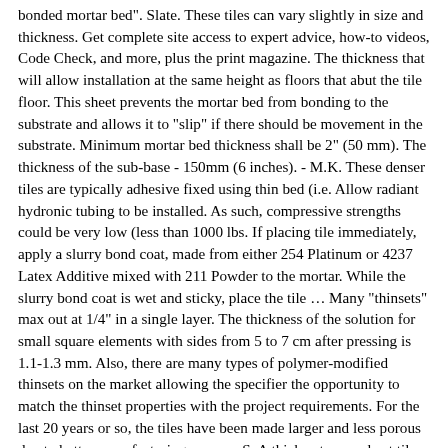bonded mortar bed". Slate. These tiles can vary slightly in size and thickness. Get complete site access to expert advice, how-to videos, Code Check, and more, plus the print magazine. The thickness that will allow installation at the same height as floors that abut the tile floor. This sheet prevents the mortar bed from bonding to the substrate and allows it to "slip" if there should be movement in the substrate. Minimum mortar bed thickness shall be 2" (50 mm). The thickness of the sub-base - 150mm (6 inches). - M.K. These denser tiles are typically adhesive fixed using thin bed (i.e. Allow radiant hydronic tubing to be installed. As such, compressive strengths could be very low (less than 1000 lbs. If placing tile immediately, apply a slurry bond coat, made from either 254 Platinum or 4237 Latex Additive mixed with 211 Powder to the mortar. While the slurry bond coat is wet and sticky, place the tile … Many "thinsets" max out at 1/4" in a single layer. The thickness of the solution for small square elements with sides from 5 to 7 cm after pressing is 1.1-1.3 mm. Also, there are many types of polymer-modified thinsets on the market allowing the specifier the opportunity to match the thinset properties with the project requirements. For the last 20 years or so, the tiles have been made larger and less porous due to better manufacturing processeS. A thick-set or mud-set tile installation consists of finish tiles set over a 1-1/4" to 2" thick portland cement mortar bed. For example: A higher quality tile could allow for a 1/16" or 1/8" grout line and maybe even a brick layout as lippage may not be an issue (in a perfect tile world) where as a lower quality tile might have major